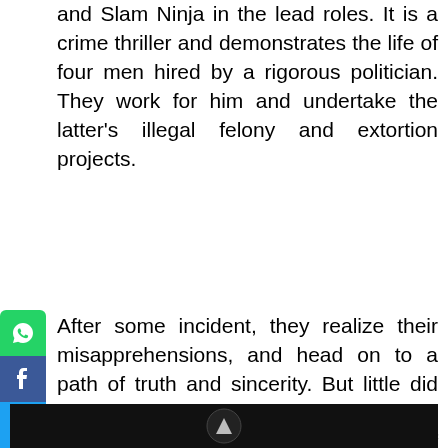and Slam Ninja in the lead roles. It is a crime thriller and demonstrates the life of four men hired by a rigorous politician. They work for him and undertake the latter's illegal felony and extortion projects.
[Figure (infographic): Social media sharing buttons: WhatsApp, Facebook, Twitter, Google+, Pinterest, LinkedIn stacked vertically on the left side]
After some incident, they realize their misapprehensions, and head on to a path of truth and sincerity. But little did they know, it is even more dangerous. The plot showcases the struggle of these men who fight out to set free themselves from the evil crime world. Throughout the trailer, loud rounds of firing are heard and seen. Therefore, it is both loud and power-punch movie.
[Figure (photo): Dark/black image at the bottom with a small circular icon visible]